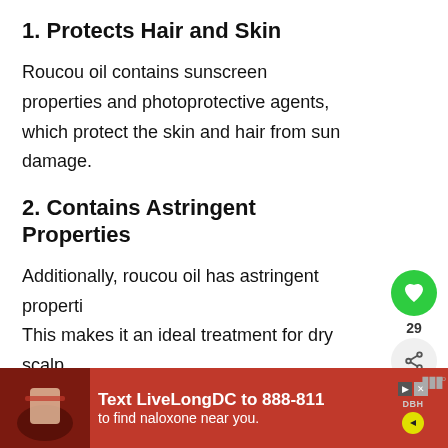1. Protects Hair and Skin
Roucou oil contains sunscreen properties and photoprotective agents, which protect the skin and hair from sun damage.
2. Contains Astringent Properties
Additionally, roucou oil has astringent properti… This makes it an ideal treatment for dry scalp, dandruff, eczema, and excessively oily…
[Figure (other): UI overlay: green heart/like button with count 29, share button]
[Figure (other): What's Next panel: image thumbnail, label 'WHAT'S NEXT', text 'Hydrate and Smoothen...']
[Figure (other): Advertisement banner: Text 'Text LiveLongDC to 888-811 to find naloxone near you.' on red background with DBH logo]